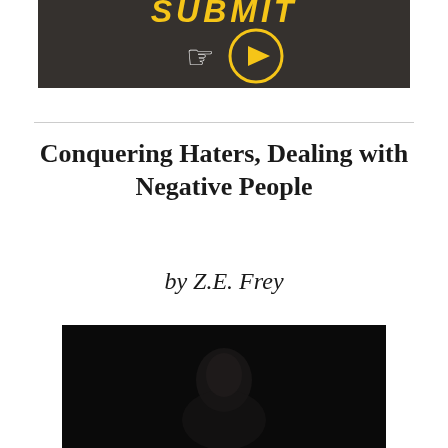[Figure (screenshot): Dark chalkboard background with yellow stylized text 'SUBMIT' at top, a hand pointing at a yellow play button circle]
Conquering Haters, Dealing with Negative People
by Z.E. Frey
[Figure (photo): Dark nearly black image showing a faint silhouette of a person's face and upper body]